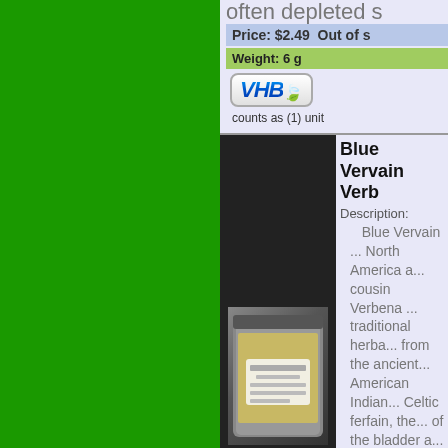often depleted s...
Price: $2.49  Out of s...
Weight: 6 g
[Figure (logo): VHB logo with cannabis leaf]
counts as (1) unit
Blue Vervain Verb...
Description:
Blue Vervain ... North America a... cousin Verbena ... traditional herba... from the ancient... American Indian... Celtic ferfain, the... of the bladder a...
Price: $1.95
Weight: 1 oz
[Figure (logo): VHB logo with cannabis leaf]
counts as (1) unit
[Figure (other): Add to cart button]